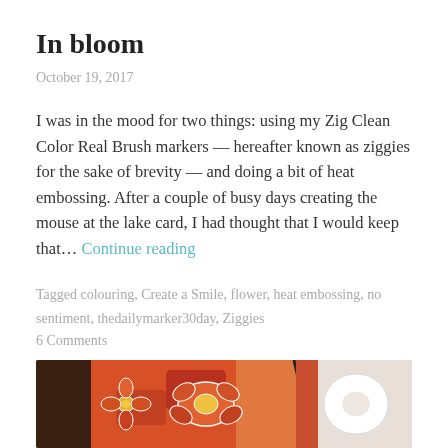In bloom
October 19, 2017
I was in the mood for two things: using my Zig Clean Color Real Brush markers — hereafter known as ziggies for the sake of brevity — and doing a bit of heat embossing. After a couple of busy days creating the mouse at the lake card, I had thought that I would keep that… Continue reading
Tagged colouring, Create a Smile, flower, heat embossing, no sentiment, thedailymarker30day, Ziggies
6 Comments
[Figure (photo): Close-up photo of a colourful floral card with orange, red, and white flower designs with black outlines, showing heat embossing artwork.]